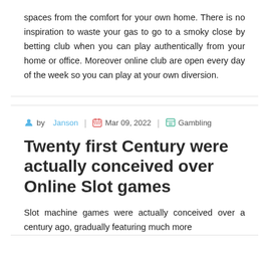spaces from the comfort for your own home. There is no inspiration to waste your gas to go to a smoky close by betting club when you can play authentically from your home or office. Moreover online club are open every day of the week so you can play at your own diversion.
by Janson | Mar 09, 2022 | Gambling
Twenty first Century were actually conceived over Online Slot games
Slot machine games were actually conceived over a century ago, gradually featuring much more